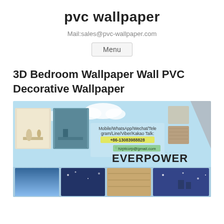pvc wallpaper
Mail:sales@pvc-wallpaper.com
Menu
3D Bedroom Wallpaper Wall PVC Decorative Wallpaper
[Figure (photo): Product banner image showing wallpaper samples and decorative wall installations with EVERPOWER branding, contact info: Mobile/WhatsApp/Wechat/Telegram/Line/Viber/Kakao Talk: +86-13083988828, E-mail/Skype: hzptcorp@gmail.com, and various room and texture images in lower section.]